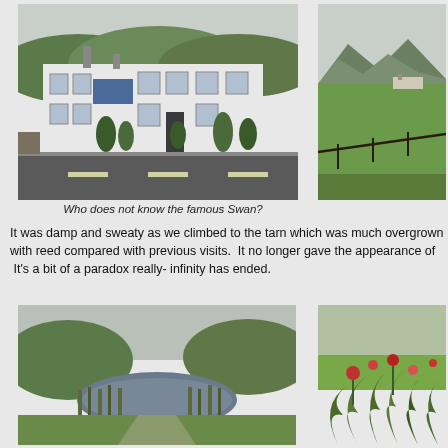[Figure (photo): Photo of the Swan Hotel, a white building along a road with green hills behind, overcast sky]
[Figure (photo): Photo of a green field with hills and mountains in the background, fence in foreground]
Who does not know the famous Swan?
It was damp and sweaty as we climbed to the tarn which was much overgrown with reed compared with previous visits.  It no longer gave the appearance of  It's a bit of a paradox really- infinity has ended.
[Figure (photo): Photo of a tarn (mountain lake) surrounded by reeds and green hills under overcast sky]
[Figure (photo): Photo of dense ferns and vegetation with some red/pink flowers, green field behind]